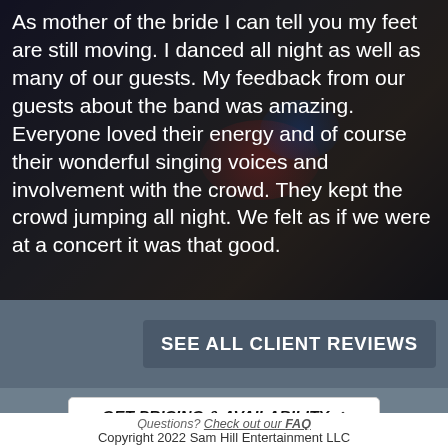As mother of the bride I can tell you my feet are still moving. I danced all night as well as many of our guests. My feedback from our guests about the band was amazing. Everyone loved their energy and of course their wonderful singing voices and involvement with the crowd. They kept the crowd jumping all night. We felt as if we were at a concert it was that good.
SEE ALL CLIENT REVIEWS
GET PRICING & AVAILABILITY →
Questions? Check out our FAQ
Copyright 2022 Sam Hill Entertainment LLC